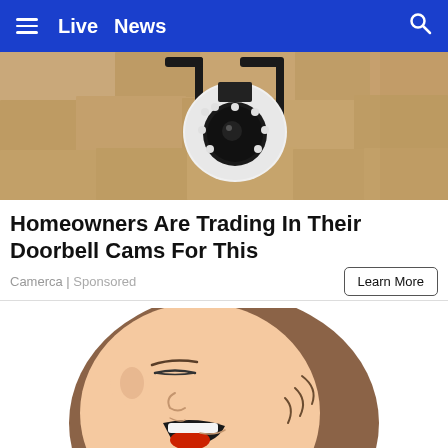≡  Live  News  🔍
[Figure (photo): Close-up photo of a white spherical security camera mounted on a wall bracket against a beige stone wall, with the camera lens visible and ring of LED lights around it.]
Homeowners Are Trading In Their Doorbell Cams For This
Camerca | Sponsored
Learn More
[Figure (illustration): Cartoon illustration of a person lying down with their mouth wide open and eyes closed, appearing to be snoring or sleeping, shown in profile view. The character has brown hair and is drawn in a simple comic style.]